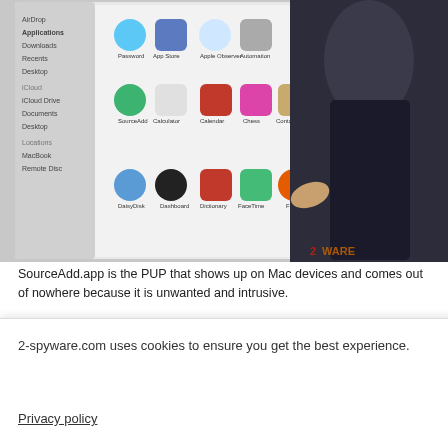[Figure (screenshot): Screenshot of Mac Applications folder showing various app icons including SourceAdd, Calculator, Calendar, Chess, Contacts, DaisyDisk, Dashboard, Dictionary, FaceTime, Firefox, overlaid with a photo of a person in a dark jacket pointing at a screen. The 2-spyware.com watermark is visible.]
SourceAdd.app is the PUP that shows up on Mac devices and comes out of nowhere because it is unwanted and intrusive.
Source Add App is actually free when it comes out of nowhere but there is nothing useful or needed for your machine. The program can even come with other programs to your system or install them later on. Make sure to check all your browsing tools and Program folders to make sure that you eliminated all suspicious extensions, add-ons or different applications loaded behind your back.